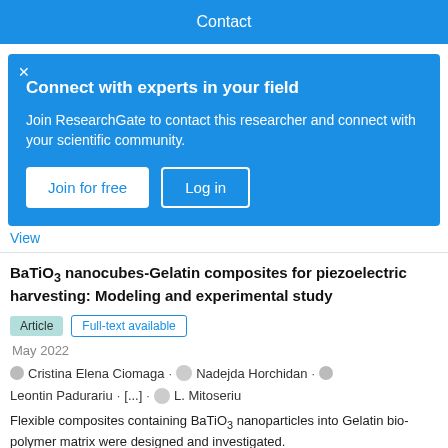Contact
Connect with experts in your field
Join ResearchGate to contact this researcher and connect with your scientific community.
Join for free   Log in
View
BaTiO3 nanocubes-Gelatin composites for piezoelectric harvesting: Modeling and experimental study
Article   Full-text available
May 2022
Cristina Elena Ciomaga · Nadejda Horchidan · Leontin Padurariu · [...] · L. Mitoseriu
Flexible composites containing BaTiO3 nanoparticles into Gelatin bio-polymer matrix were designed and investigated.